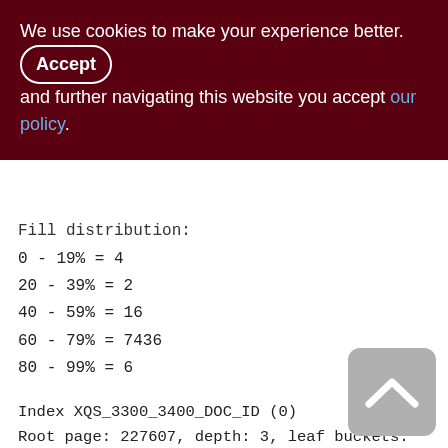We use cookies to make your experience better. By accepting and further navigating this website you accept our policy.
Fill distribution:
0 - 19% = 4
20 - 39% = 2
40 - 59% = 16
60 - 79% = 7436
80 - 99% = 6
Index XQS_3300_3400_DOC_ID (0)
Root page: 227607, depth: 3, leaf buckets: 678, nodes: 543892
Average node length: 5.35, total dup: 508325, max dup: 112
Average key length: 2.50, compression